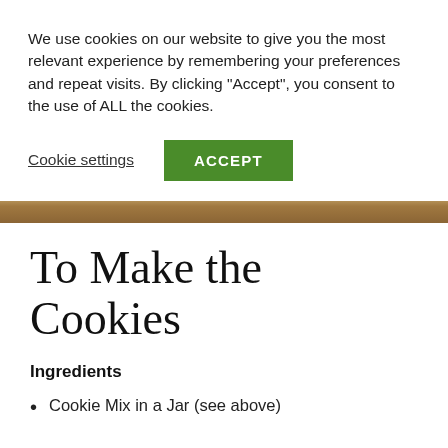We use cookies on our website to give you the most relevant experience by remembering your preferences and repeat visits. By clicking “Accept”, you consent to the use of ALL the cookies.
Cookie settings
ACCEPT
[Figure (photo): Partial view of cookies or baked goods image, showing a warm golden-brown strip]
To Make the Cookies
Ingredients
Cookie Mix in a Jar (see above)